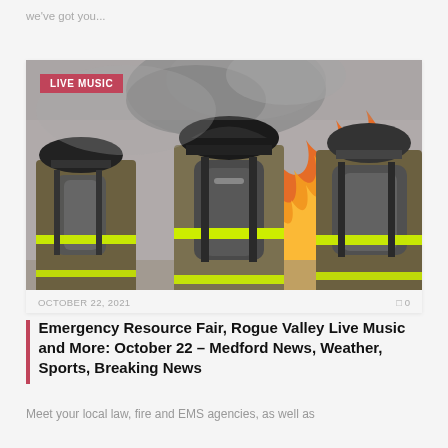we've got you...
[Figure (photo): Three firefighters from behind wearing gear and air tanks, facing a large fire with orange flames and smoke, with a pink 'LIVE MUSIC' badge overlaid in the top-left corner.]
OCTOBER 22, 2021    0
Emergency Resource Fair, Rogue Valley Live Music and More: October 22 – Medford News, Weather, Sports, Breaking News
Meet your local law, fire and EMS agencies, as well as